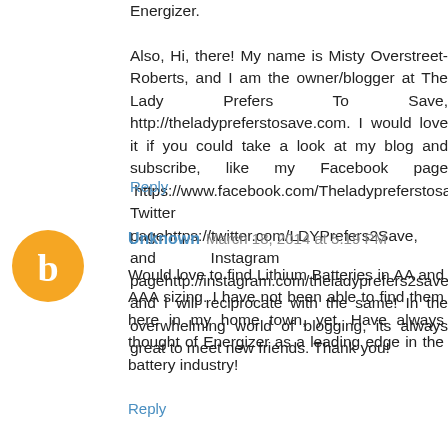Energizer. Also, Hi, there! My name is Misty Overstreet-Roberts, and I am the owner/blogger at The Lady Prefers To Save, http://theladypreferstosave.com. I would love it if you could take a look at my blog and subscribe, like my Facebook page https://www.facebook.com/Theladypreferstosavecom, Twitter pagehttps://twitter.com/LDYPrefers2Save, and Instagram pagehttp://instagram.com/theladyprefers2save, and I will reciprocate with the same! In the overwhelming world of blogging, its always great to meet new friends. Thank you!
Reply
Unknown  March 18, 2014 at 5:19 PM
Would love to find Lithium Batteries in AA and AAA sizing. I have not been able to find them here in my home town, yet. Have always thought of Energizer as a leading edge in the battery industry!
Reply